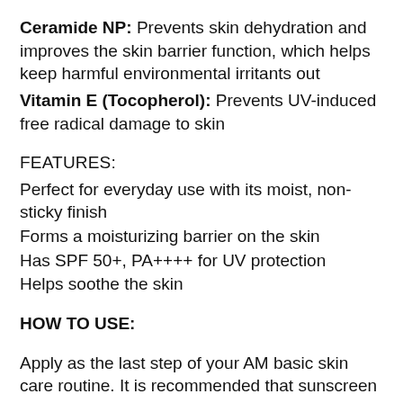Ceramide NP: Prevents skin dehydration and improves the skin barrier function, which helps keep harmful environmental irritants out
Vitamin E (Tocopherol): Prevents UV-induced free radical damage to skin
FEATURES:
Perfect for everyday use with its moist, non-sticky finish
Forms a moisturizing barrier on the skin
Has SPF 50+, PA++++ for UV protection
Helps soothe the skin
HOW TO USE:
Apply as the last step of your AM basic skin care routine. It is recommended that sunscreen be applied approx. 20 minutes before sun exposure.
INGREDIENTS: